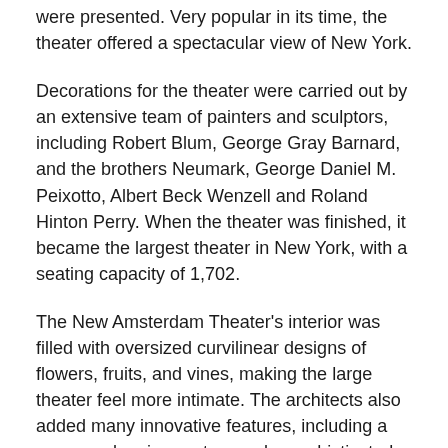were presented. Very popular in its time, the theater offered a spectacular view of New York.
Decorations for the theater were carried out by an extensive team of painters and sculptors, including Robert Blum, George Gray Barnard, and the brothers Neumark, George Daniel M. Peixotto, Albert Beck Wenzell and Roland Hinton Perry. When the theater was finished, it became the largest theater in New York, with a seating capacity of 1,702.
The New Amsterdam Theater's interior was filled with oversized curvilinear designs of flowers, fruits, and vines, making the large theater feel more intimate. The architects also added many innovative features, including a vacuum cleaning system and a sophisticated ventilation system for cooling and heating.